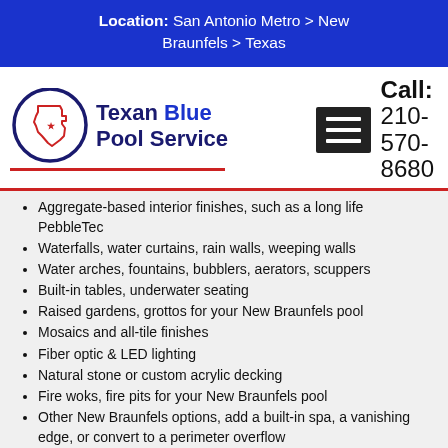Location: San Antonio Metro > New Braunfels > Texas
[Figure (logo): Texan Blue Pool Service logo with Texas state outline in circle, navy and red colors]
Aggregate-based interior finishes, such as a long life PebbleTec
Waterfalls, water curtains, rain walls, weeping walls
Water arches, fountains, bubblers, aerators, scuppers
Built-in tables, underwater seating
Raised gardens, grottos for your New Braunfels pool
Mosaics and all-tile finishes
Fiber optic & LED lighting
Natural stone or custom acrylic decking
Fire woks, fire pits for your New Braunfels pool
Other New Braunfels options, add a built-in spa, a vanishing edge, or convert to a perimeter overflow